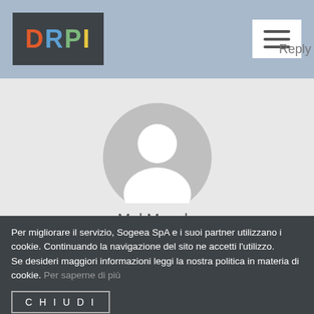DRPI
[Figure (illustration): Default user avatar: gray circle with white silhouette of a person (head and shoulders)]
Mel Macola
My spouse and I stumbled over here by a different web address and thought I may as well check things out. I like
Per migliorare il servizio, Sogeea SpA e i suoi partner utilizzano i cookie. Continuando la navigazione del sito ne accetti l'utilizzo.
Se desideri maggiori informazioni leggi la nostra politica in materia di cookie. Per saperne di più
CHIUDI